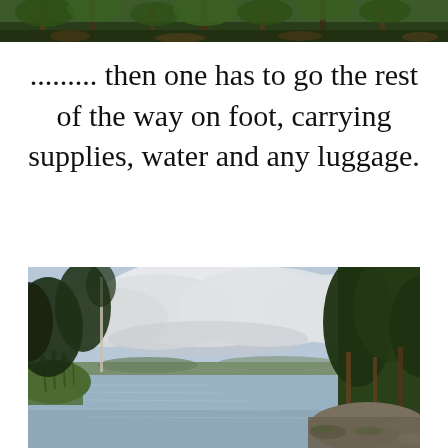[Figure (photo): Top strip: forest and foliage nature photograph, cropped at top of page]
......... then one has to go the rest of the way on foot, carrying supplies, water and any luggage.
[Figure (photo): Landscape photograph of a calm lake surrounded by pine trees and birch trees, with a cloudy sky reflecting on the still water surface, rocky shoreline in the foreground right]